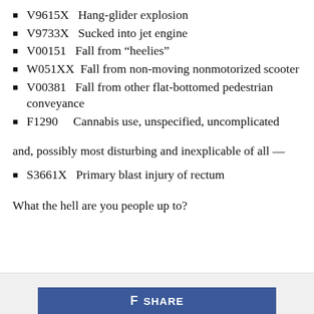V9615X   Hang-glider explosion
V9733X   Sucked into jet engine
V00151   Fall from “heelies”
W051XX   Fall from non-moving nonmotorized scooter
V00381   Fall from other flat-bottomed pedestrian conveyance
F1290   Cannabis use, unspecified, uncomplicated
and, possibly most disturbing and inexplicable of all —
S3661X   Primary blast injury of rectum
What the hell are you people up to?
[Figure (other): Facebook share button at bottom of page]